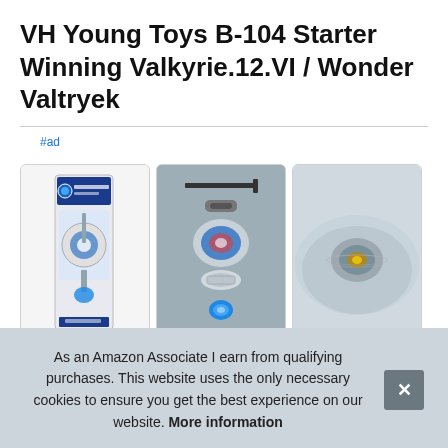VH Young Toys B-104 Starter Winning Valkyrie.12.VI / Wonder Valtryek
#ad
[Figure (photo): Three product images: (1) Beyblade toy package in white box, (2) Exploded diagram of toy parts on gray background, (3) Close-up of spinning top toy]
VH
from in yo
As an Amazon Associate I earn from qualifying purchases. This website uses the only necessary cookies to ensure you get the best experience on our website. More information